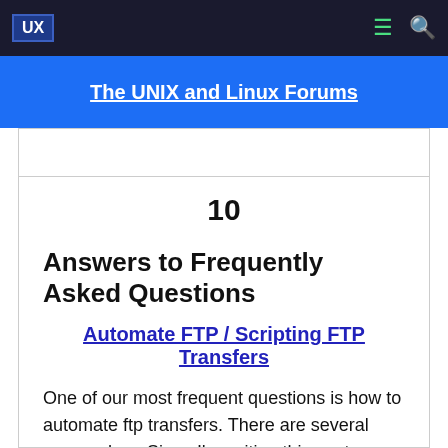UX | The UNIX and Linux Forums
The UNIX and Linux Forums
10
Answers to Frequently Asked Questions
Automate FTP / Scripting FTP Transfers
One of our most frequent questions is how to automate ftp transfers. There are several approaches. Since I'm writing this post, we will start with my favorite technique. :) In Automated FTP task I present a simple